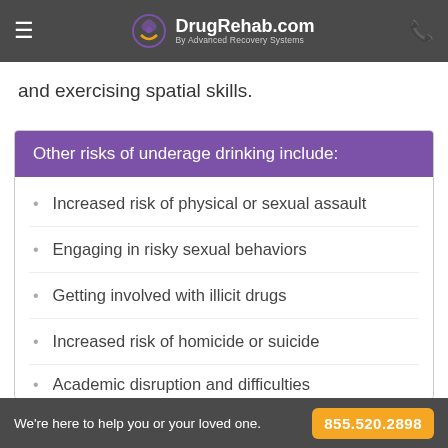DrugRehab.com By Advanced Recovery Systems
and exercising spatial skills.
Other risks of underage drinking include:
Increased risk of physical or sexual assault
Engaging in risky sexual behaviors
Getting involved with illicit drugs
Increased risk of homicide or suicide
We're here to help you or your loved one. 855.520.2898